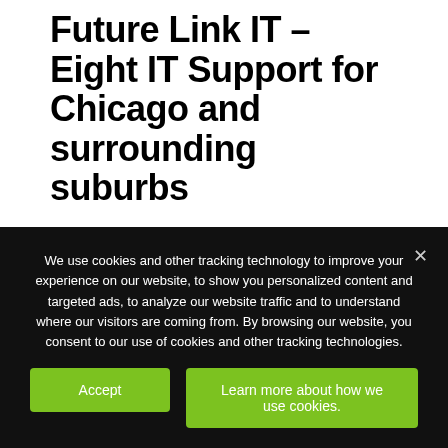Future Link IT – Eight IT Support for Chicago and surrounding suburbs
Search
Recent Posts
We use cookies and other tracking technology to improve your experience on our website, to show you personalized content and targeted ads, to analyze our website traffic and to understand where our visitors are coming from. By browsing our website, you consent to our use of cookies and other tracking technologies.
Accept
Learn more about how we use cookies.